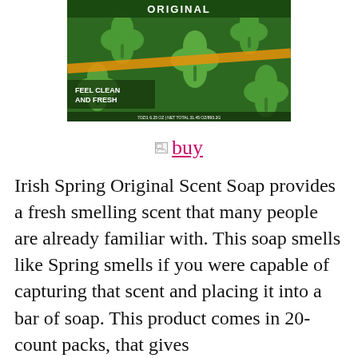[Figure (photo): Irish Spring Original soap bar packaging showing shamrocks/clovers on a green background with text 'ORIGINAL' and 'FEEL CLEAN AND FRESH']
[Figure (other): Broken image icon followed by a 'buy' link in pink/red underlined text]
Irish Spring Original Scent Soap provides a fresh smelling scent that many people are already familiar with. This soap smells like Spring smells if you were capable of capturing that scent and placing it into a bar of soap. This product comes in 20-count packs, that gives